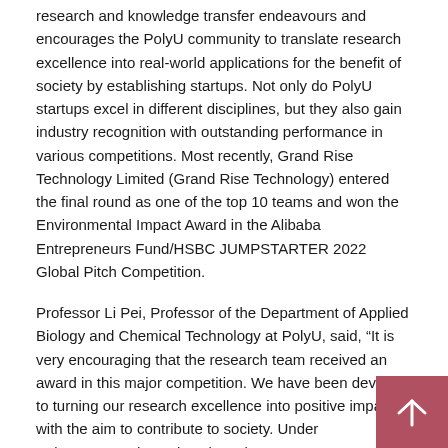research and knowledge transfer endeavours and encourages the PolyU community to translate research excellence into real-world applications for the benefit of society by establishing startups. Not only do PolyU startups excel in different disciplines, but they also gain industry recognition with outstanding performance in various competitions. Most recently, Grand Rise Technology Limited (Grand Rise Technology) entered the final round as one of the top 10 teams and won the Environmental Impact Award in the Alibaba Entrepreneurs Fund/HSBC JUMPSTARTER 2022 Global Pitch Competition.
Professor Li Pei, Professor of the Department of Applied Biology and Chemical Technology at PolyU, said, "It is very encouraging that the research team received an award in this major competition. We have been devoted to turning our research excellence into positive impacts with the aim to contribute to society. Under PolyVentures, the University strives to create a conducive and enabling environment for knowledge transfer endeavours through launching different funding schemes, organising activities such as seminars and mentorship programmes, and providing co-creation spaces with facilities and incubation support for startups. These initiatives facilitate our interaction with industries, investors and stakeholders, and help us grow."